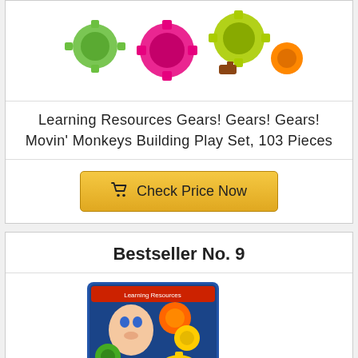[Figure (photo): Colorful plastic gear pieces scattered — partial view of Learning Resources Gears product photo at top of page]
Learning Resources Gears! Gears! Gears! Movin' Monkeys Building Play Set, 103 Pieces
Check Price Now
Bestseller No. 9
[Figure (photo): Learning Resources Gears! Gears! Gears! product box and gear toys arranged in front — colorful building gears set with child on box artwork]